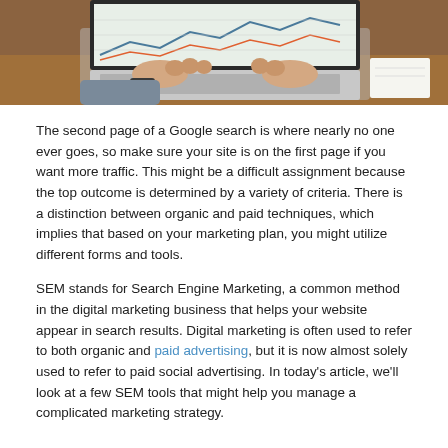[Figure (photo): Person's hands typing on a laptop keyboard placed on a wooden desk, with a graph/chart visible on the laptop screen in the background.]
The second page of a Google search is where nearly no one ever goes, so make sure your site is on the first page if you want more traffic. This might be a difficult assignment because the top outcome is determined by a variety of criteria. There is a distinction between organic and paid techniques, which implies that based on your marketing plan, you might utilize different forms and tools.
SEM stands for Search Engine Marketing, a common method in the digital marketing business that helps your website appear in search results. Digital marketing is often used to refer to both organic and paid advertising, but it is now almost solely used to refer to paid social advertising. In today’s article, we’ll look at a few SEM tools that might help you manage a complicated marketing strategy.